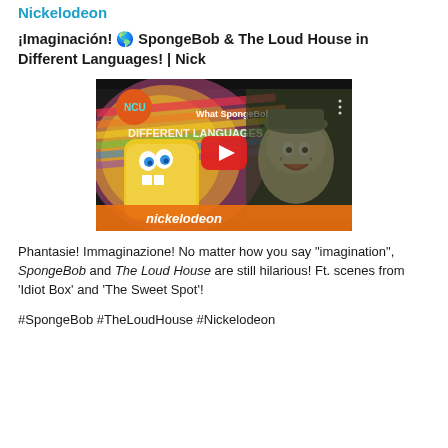Nickelodeon
¡Imaginación! 🌎 SpongeBob & The Loud House in Different Languages! | Nick
[Figure (screenshot): YouTube video thumbnail showing SpongeBob and a character from The Loud House with text 'What SpongeBob... DIFFERENT LANGUAGES' and Nickelodeon branding, with a red play button overlay]
Phantasie! Immaginazione! No matter how you say "imagination", SpongeBob and The Loud House are still hilarious! Ft. scenes from 'Idiot Box' and 'The Sweet Spot'!
#SpongeBob #TheLoudHouse #Nickelodeon